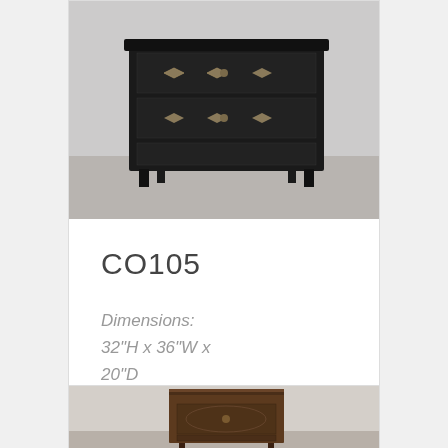[Figure (photo): Black painted chest of drawers with diamond-shaped brass hardware, photographed against a white brick wall]
CO105
Dimensions: 32"H x 36"W x 20"D
Tear  Details Sheet
[Figure (photo): Dark wood nightstand/side table with cabinet door and small drawer, photographed against a white brick wall]